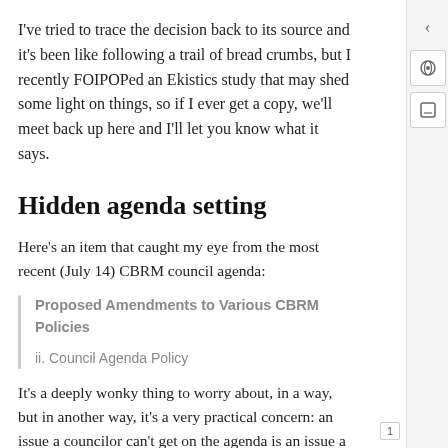I've tried to trace the decision back to its source and it's been like following a trail of bread crumbs, but I recently FOIPOPed an Ekistics study that may shed some light on things, so if I ever get a copy, we'll meet back up here and I'll let you know what it says.
Hidden agenda setting
Here's an item that caught my eye from the most recent (July 14) CBRM council agenda:
Proposed Amendments to Various CBRM Policies

ii. Council Agenda Policy
It's a deeply wonky thing to worry about, in a way, but in another way, it's a very practical concern: an issue a councilor can't get on the agenda is an issue a councilor